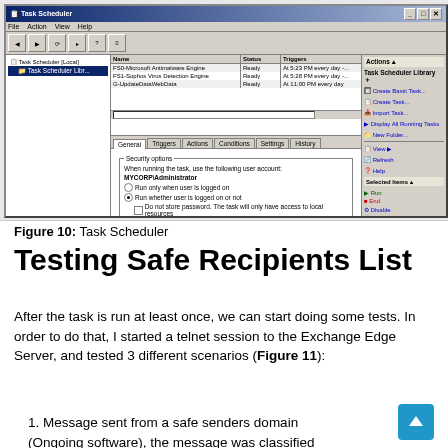[Figure (screenshot): Windows Task Scheduler application screenshot showing the Task Scheduler Library with scheduled tasks including FS0-Microsoft Antimalware Engine, FS1-Sophos Virus Detection Engine, and G-UpdateDataWebData. The General tab is selected showing security options with user account MYCORP\Administrator, radio buttons for run options, and checkboxes for password and privilege settings.]
Figure 10: Task Scheduler
Testing Safe Recipients List
After the task is run at least once, we can start doing some tests. In order to do that, I started a telnet session to the Exchange Edge Server, and tested 3 different scenarios (Figure 11):
1. Message sent from a safe senders domain (Ongoing software), the message was classified